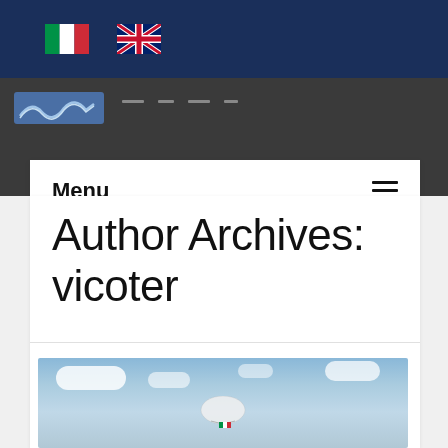[Figure (illustration): Italian flag and UK flag icons in dark blue top navigation bar]
[Figure (screenshot): Dark grey navigation bar with logo and navigation links]
Menu
Author Archives:
vicoter
[Figure (photo): Photo of a paraglider or aircraft in blue sky with white clouds, featuring Italian flag colors at bottom]